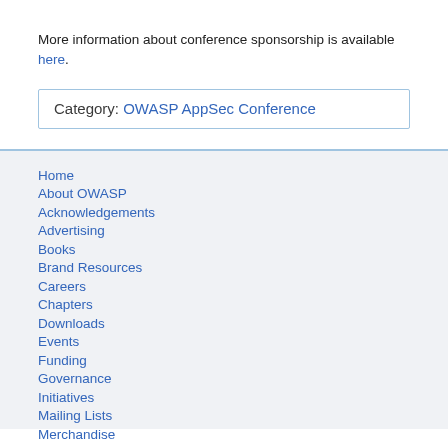More information about conference sponsorship is available here.
Category:  OWASP AppSec Conference
Home
About OWASP
Acknowledgements
Advertising
Books
Brand Resources
Careers
Chapters
Downloads
Events
Funding
Governance
Initiatives
Mailing Lists
Merchandise
Presentations